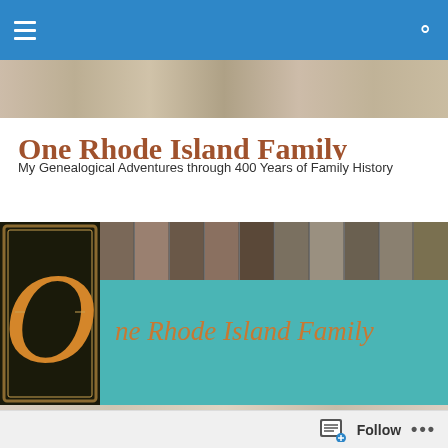Navigation bar with hamburger menu and search icon
One Rhode Island Family
My Genealogical Adventures through 400 Years of Family History
[Figure (illustration): Blog banner image featuring a decorative illuminated letter O on dark background, a strip of vintage portrait photographs, and the text 'One Rhode Island Family' in italic serif font on a teal background]
Periodicals of Interest to Rhode Island Genealogists
Follow  ...